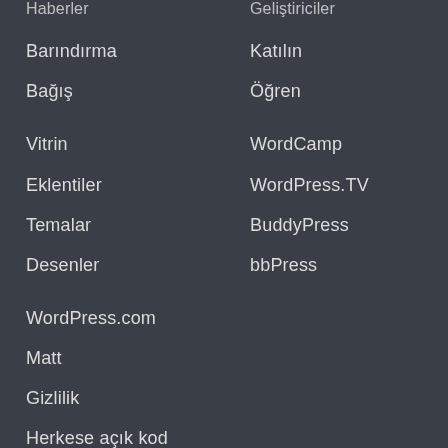Haberler
Geliştiriciler
Barındırma
Katılın
Bağış
Öğren
Vitrin
WordCamp
Eklentiler
WordPress.TV
Temalar
BuddyPress
Desenler
bbPress
WordPress.com
Matt
Gizlilik
Herkese açık kod